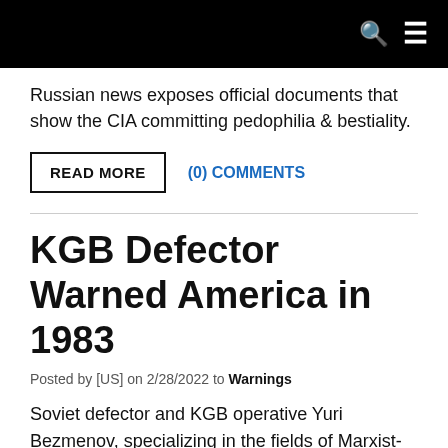Russian news exposes official documents that show the CIA committing pedophilia & bestiality.
READ MORE   (0) COMMENTS
KGB Defector Warned America in 1983
Posted by [US] on 2/28/2022 to Warnings
Soviet defector and KGB operative Yuri Bezmenov, specializing in the fields of Marxist-Leninist propaganda and ideological subversion; warned us about the silent war..